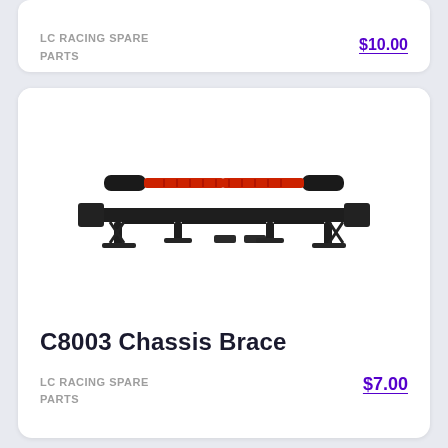LC RACING SPARE PARTS
$10.00
[Figure (photo): C8003 Chassis Brace RC car spare part — black plastic chassis brace frame with two mounting brackets and a red and black antenna rod/brace bar on top]
C8003 Chassis Brace
LC RACING SPARE PARTS
$7.00